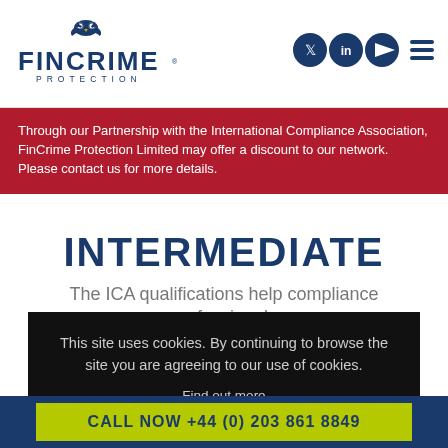[Figure (logo): FinCrime Protection logo with owl icon, dark blue text, PROTECTION subtitle]
[Figure (infographic): Social media icons: Twitter, LinkedIn, YouTube play button, and hamburger menu — all in dark navy blue]
Through our Partnership with the International Compliance Association, FinCrime Protection Limited may offer a discount to our network. Please contact us for more details.
INTERMEDIATE
The ICA qualifications help compliance professionals
This site uses cookies. By continuing to browse the site you are agreeing to our use of cookies.
Find out more
Got it!
CALL NOW +44 (0) 203 861 8849